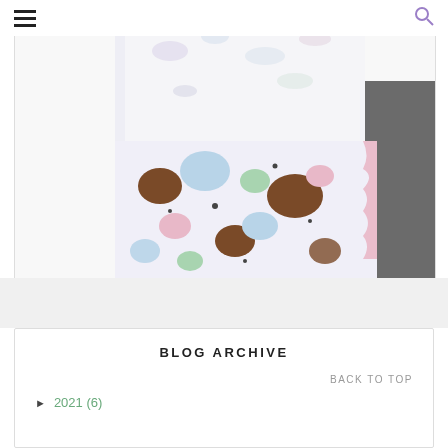☰  🔍
[Figure (photo): A baby or toddler wearing a white shirt with scattered oval/pill shapes, and a colorful polka-dot bib/blanket with brown, pink, blue, and green circles with pink edging. Dark background visible on the right.]
BLOG ARCHIVE
BACK TO TOP
► 2021 (6)